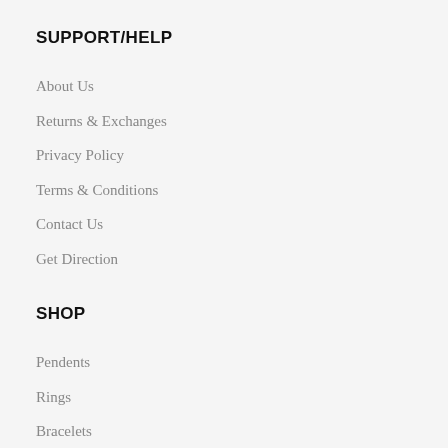SUPPORT/HELP
About Us
Returns & Exchanges
Privacy Policy
Terms & Conditions
Contact Us
Get Direction
SHOP
Pendents
Rings
Bracelets
Earrings